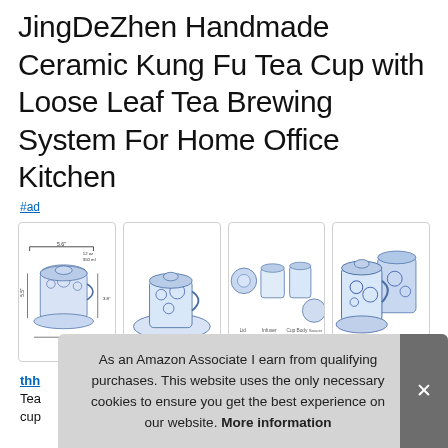JingDeZhen Handmade Ceramic Kung Fu Tea Cup with Loose Leaf Tea Brewing System For Home Office Kitchen
#ad
[Figure (photo): Four product images of blue and white ceramic tea cup set with dimensions, components layout, and assembled views]
thh Tea cup
As an Amazon Associate I earn from qualifying purchases. This website uses the only necessary cookies to ensure you get the best experience on our website. More information